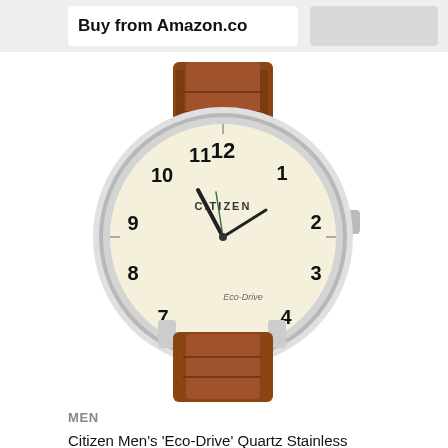Buy from Amazon.co
[Figure (photo): Citizen Men's Eco-Drive watch with cream dial showing Arabic numerals 1-12, CITIZEN and Eco-Drive branding, dark hands, silver stainless steel case, and brown leather strap]
MEN
Citizen Men's 'Eco-Drive' Quartz Stainless Steel and Leather Casual Watch, Color:Brown (Model: BJ6500-21A)